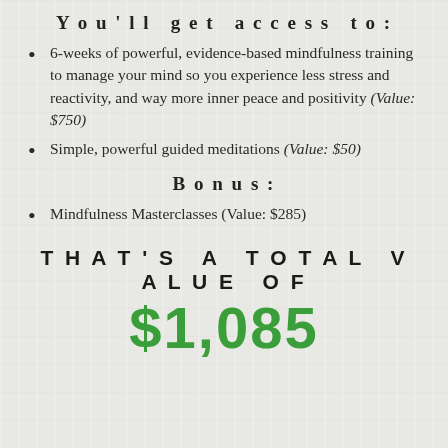You'll get access to:
6-weeks of powerful, evidence-based mindfulness training to manage your mind so you experience less stress and reactivity, and way more inner peace and positivity (Value: $750)
Simple, powerful guided meditations (Value: $50)
Bonus:
Mindfulness Masterclasses (Value: $285)
THAT'S A TOTAL VALUE OF
$1,085